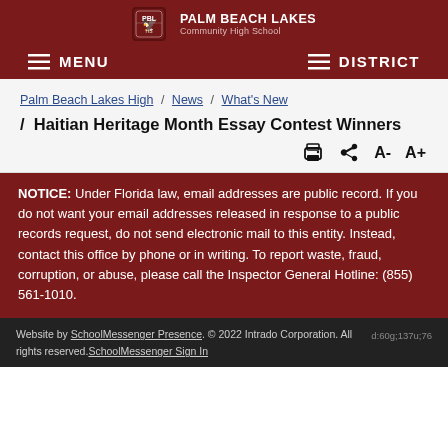PALM BEACH LAKES Community High School
MENU  DISTRICT
Palm Beach Lakes High / News / What's New / Haitian Heritage Month Essay Contest Winners
Haitian Heritage Month Essay Contest Winners
NOTICE: Under Florida law, email addresses are public record. If you do not want your email addresses released in response to a public records request, do not send electronic mail to this entity. Instead, contact this office by phone or in writing. To report waste, fraud, corruption, or abuse, please call the Inspector General Hotline: (855) 561-1010.
Website by SchoolMessenger Presence. © 2022 Intrado Corporation. All rights reserved.SchoolMessenger Sign In  d:60g;137u;76